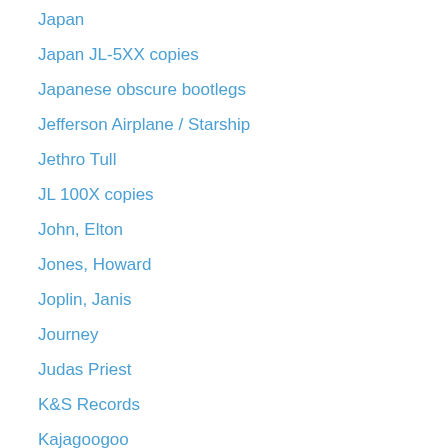Japan
Japan JL-5XX copies
Japanese obscure bootlegs
Jefferson Airplane / Starship
Jethro Tull
JL 100X copies
John, Elton
Jones, Howard
Joplin, Janis
Journey
Judas Priest
K&S Records
Kajagoogoo
Ken and Dub
King Crimson
King, Carole
KISS
Kraftwerk
Kustom Records